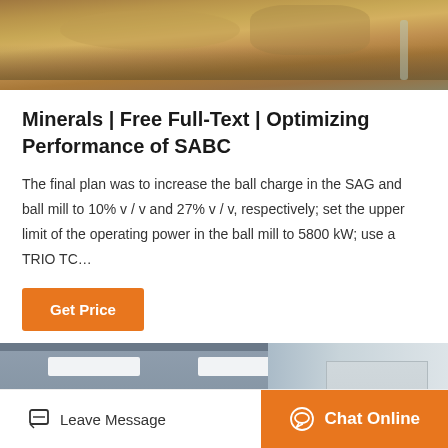[Figure (photo): Aerial or close-up view of earth/soil mining site with rocks and dirt]
Minerals | Free Full-Text | Optimizing Performance of SABC
The final plan was to increase the ball charge in the SAG and ball mill to 10% v / v and 27% v / v, respectively; set the upper limit of the operating power in the ball mill to 5800 kW; use a TRIO TC…
[Figure (photo): Industrial building interior with machinery, ceiling lights, and blue equipment]
Leave Message  |  Chat Online